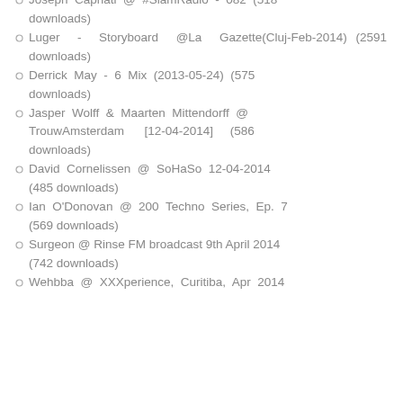Joseph Capriati @ #SlamRadio - 082 (518 downloads)
Luger - Storyboard @La Gazette(Cluj-Feb-2014) (2591 downloads)
Derrick May - 6 Mix (2013-05-24) (575 downloads)
Jasper Wolff & Maarten Mittendorff @ TrouwAmsterdam [12-04-2014] (586 downloads)
David Cornelissen @ SoHaSo 12-04-2014 (485 downloads)
Ian O'Donovan @ 200 Techno Series, Ep. 7 (569 downloads)
Surgeon @ Rinse FM broadcast 9th April 2014 (742 downloads)
Wehbba @ XXXperience, Curitiba, Apr 2014